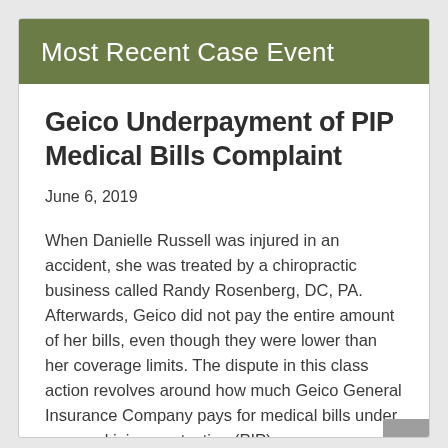Most Recent Case Event
Geico Underpayment of PIP Medical Bills Complaint
June 6, 2019
When Danielle Russell was injured in an accident, she was treated by a chiropractic business called Randy Rosenberg, DC, PA. Afterwards, Geico did not pay the entire amount of her bills, even though they were lower than her coverage limits. The dispute in this class action revolves around how much Geico General Insurance Company pays for medical bills under personal injury protection (PIP) coverage.